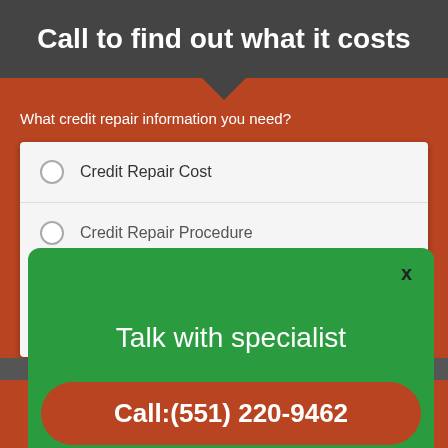Call to find out what it costs
What credit repair information you need?
Credit Repair Cost
Credit Repair Procedure
Talk with specialist
Call:(551) 220-9462
(240) 789-4012